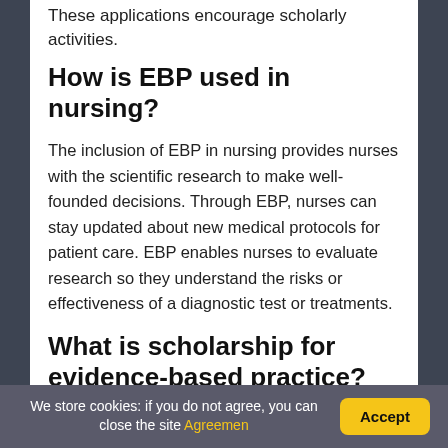These applications encourage scholarly activities.
How is EBP used in nursing?
The inclusion of EBP in nursing provides nurses with the scientific research to make well-founded decisions. Through EBP, nurses can stay updated about new medical protocols for patient care. EBP enables nurses to evaluate research so they understand the risks or effectiveness of a diagnostic test or treatments.
What is scholarship for evidence-based practice?
We store cookies: if you do not agree, you can close the site Agreemen